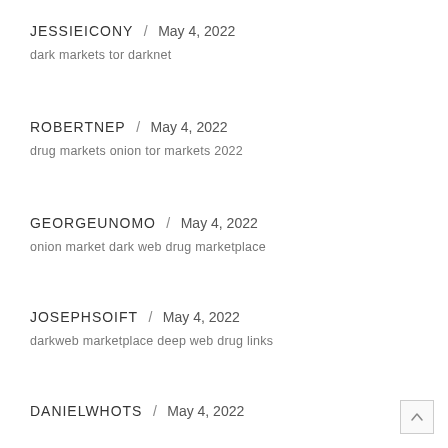JESSIEICONY / May 4, 2022
dark markets tor darknet
ROBERTNEP / May 4, 2022
drug markets onion tor markets 2022
GEORGEUNOMO / May 4, 2022
onion market dark web drug marketplace
JOSEPHSOIFT / May 4, 2022
darkweb marketplace deep web drug links
DANIELWHOTS / May 4, 2022